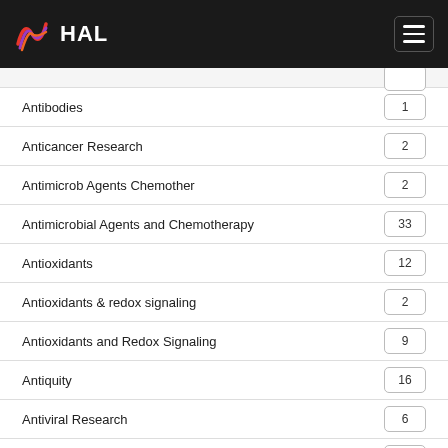HAL
Antibodies
Anticancer Research
Antimicrob Agents Chemother
Antimicrobial Agents and Chemotherapy
Antioxidants
Antioxidants & redox signaling
Antioxidants and Redox Signaling
Antiquity
Antiviral Research
Antiviral Therapy